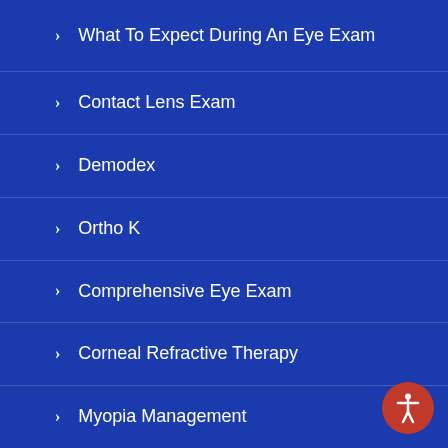What To Expect During An Eye Exam
Contact Lens Exam
Demodex
Ortho K
Comprehensive Eye Exam
Corneal Refractive Therapy
Myopia Management